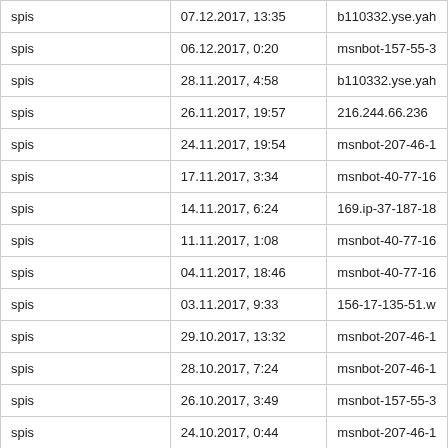| spis | 07.12.2017, 13:35 | b110332.yse.yah |
| spis | 06.12.2017, 0:20 | msnbot-157-55-3 |
| spis | 28.11.2017, 4:58 | b110332.yse.yah |
| spis | 26.11.2017, 19:57 | 216.244.66.236 |
| spis | 24.11.2017, 19:54 | msnbot-207-46-1 |
| spis | 17.11.2017, 3:34 | msnbot-40-77-16 |
| spis | 14.11.2017, 6:24 | 169.ip-37-187-18 |
| spis | 11.11.2017, 1:08 | msnbot-40-77-16 |
| spis | 04.11.2017, 18:46 | msnbot-40-77-16 |
| spis | 03.11.2017, 9:33 | 156-17-135-51.w |
| spis | 29.10.2017, 13:32 | msnbot-207-46-1 |
| spis | 28.10.2017, 7:24 | msnbot-207-46-1 |
| spis | 26.10.2017, 3:49 | msnbot-157-55-3 |
| spis | 24.10.2017, 0:44 | msnbot-207-46-1 |
| spis | 19.10.2017, 8:44 | msnbot-157-55-3 |
| spis | 19.10.2017, 7:36 | static.55.174.46. |
| spis | 03.10.2017, 9:40 | msnbot-157-55-3 |